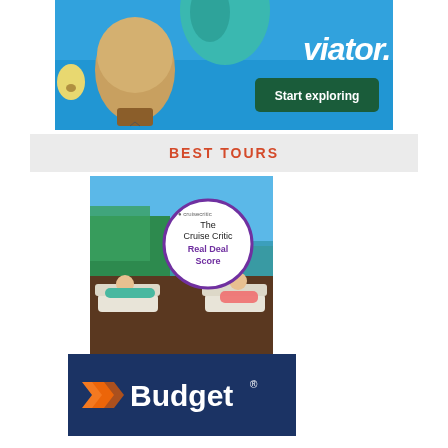[Figure (photo): Viator advertisement banner with hot air balloons against blue sky. Features Viator logo in white italic text and a dark green 'Start exploring' button.]
BEST TOURS
[Figure (photo): Cruise Critic advertisement showing two people lounging on deck chairs overlooking water, with a circular badge overlay reading 'The Cruise Critic Real Deal Score' with a purple ring and purple bold text.]
[Figure (logo): Budget car rental advertisement on dark navy blue background featuring the Budget logo with orange chevron/arrow icon and white bold text 'Budget' with registered trademark symbol.]